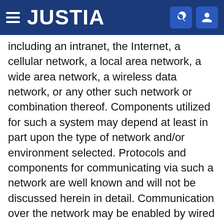JUSTIA
including an intranet, the Internet, a cellular network, a local area network, a wide area network, a wireless data network, or any other such network or combination thereof. Components utilized for such a system may depend at least in part upon the type of network and/or environment selected. Protocols and components for communicating via such a network are well known and will not be discussed herein in detail. Communication over the network may be enabled by wired or wireless connections, and combinations thereof. In this example, the network 104 includes the Internet, as the environment includes a Web server 106 for receiving requests and serving content in response thereto, although for other networks an alternative device serving a similar purpose could be utilized as would be apparent to one of ordinary skill in the art.